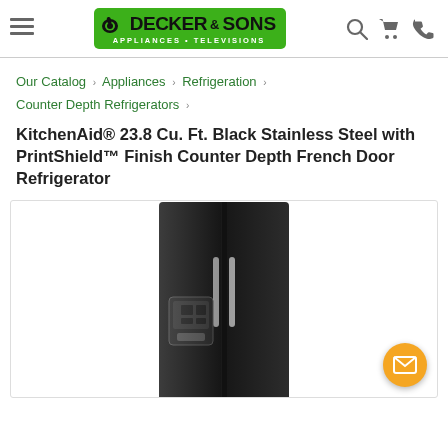Decker & Sons Appliances • Televisions
Our Catalog › Appliances › Refrigeration › Counter Depth Refrigerators ›
KitchenAid® 23.8 Cu. Ft. Black Stainless Steel with PrintShield™ Finish Counter Depth French Door Refrigerator
[Figure (photo): KitchenAid black stainless steel counter depth French door refrigerator with water/ice dispenser on left door]